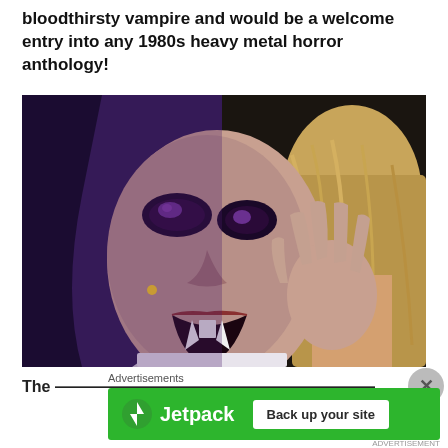bloodthirsty vampire and would be a welcome entry into any 1980s heavy metal horror anthology!
[Figure (photo): Close-up still from a horror film showing a person in vampire makeup with fangs, dark eye makeup, and clawed hand raised near another person's neck. Purple/dark toned lighting typical of 1980s horror.]
The ...
Advertisements
[Figure (other): Jetpack advertisement banner with green background. Left side shows Jetpack logo (lightning bolt icon) with text 'Jetpack'. Right side shows white button with text 'Back up your site'.]